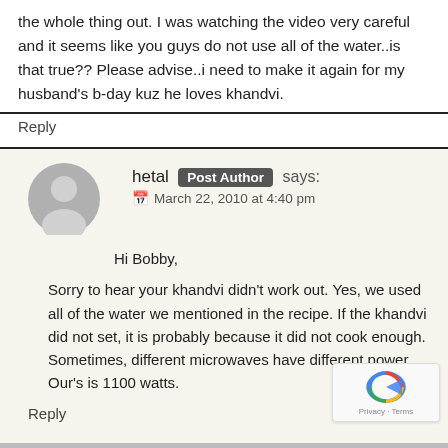the whole thing out. I was watching the video very careful and it seems like you guys do not use all of the water..is that true?? Please advise..i need to make it again for my husband's b-day kuz he loves khandvi.
Reply
hetal Post Author says:
March 22, 2010 at 4:40 pm
Hi Bobby,
Sorry to hear your khandvi didn't work out. Yes, we used all of the water we mentioned in the recipe. If the khandvi did not set, it is probably because it did not cook enough. Sometimes, different microwaves have different power. Our's is 1100 watts.
Reply